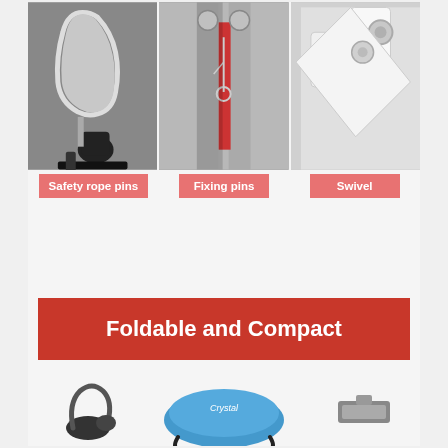[Figure (photo): Three close-up product photos: left shows safety rope pin/hook mechanism on black strap, center shows fixing pins with red accent on metal frame, right shows white swivel bracket with bolts]
Safety rope pins
Fixing pins
Swivel
Foldable and Compact
[Figure (photo): Bottom product photos showing foldable compact exercise equipment components: blue padded piece in center, black hook pieces on sides, small metal bracket on right]